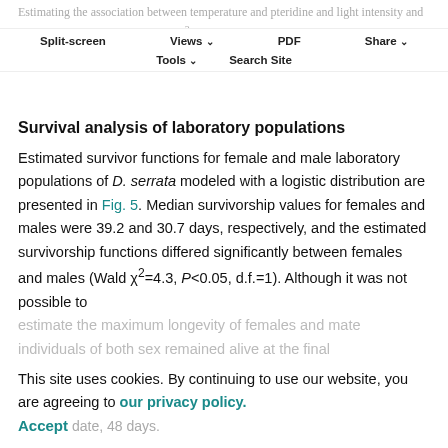Estimating the association between temperature and pteridine and light intensity and pteridine (population effect size ω²) were 14.5% and 20.4%, respectively.
Split-screen | Views | PDF | Share | Tools | Search Site
Survival analysis of laboratory populations
Estimated survivor functions for female and male laboratory populations of D. serrata modeled with a logistic distribution are presented in Fig. 5. Median survivorship values for females and males were 39.2 and 30.7 days, respectively, and the estimated survivorship functions differed significantly between females and males (Wald χ²=4.3, P<0.05, d.f.=1). Although it was not possible to estimate the maximum longevity of females and mate individuals of both sex remained alive at the final date, 48 days.
This site uses cookies. By continuing to use our website, you are agreeing to our privacy policy. Accept